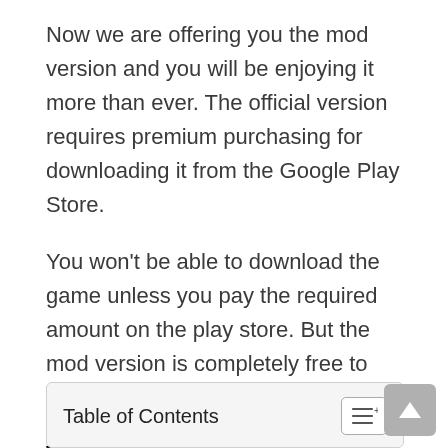Now we are offering you the mod version and you will be enjoying it more than ever. The official version requires premium purchasing for downloading it from the Google Play Store.
You won't be able to download the game unless you pay the required amount on the play store. But the mod version is completely free to download and play.
What is Boxing Gym Story Apk?
| Table of Contents |
| --- |